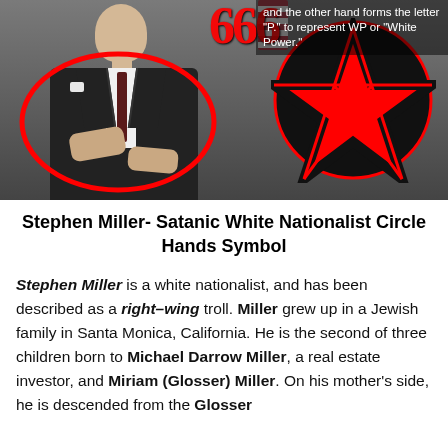[Figure (photo): Photo of a man in a dark suit with a red circle drawn around his hands/midsection, a red pentagram symbol overlaid on the right, '666' text in red overlaid on the upper right, and white text overlay reading 'and the other hand forms the letter "P." to represent WP or "White Power."']
Stephen Miller- Satanic White Nationalist Circle Hands Symbol
Stephen Miller is a white nationalist, and has been described as a right–wing troll. Miller grew up in a Jewish family in Santa Monica, California. He is the second of three children born to Michael Darrow Miller, a real estate investor, and Miriam (Glosser) Miller. On his mother's side, he is descended from the Glosser